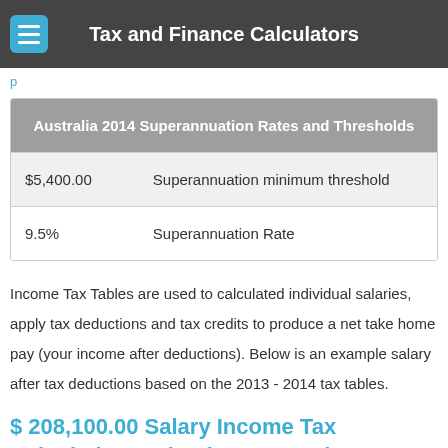Tax and Finance Calculators
| Australia 2014 Superannuation Rates and Thresholds |
| --- |
| $5,400.00 | Superannuation minimum threshold |
| 9.5% | Superannuation Rate |
Income Tax Tables are used to calculated individual salaries, apply tax deductions and tax credits to produce a net take home pay (your income after deductions). Below is an example salary after tax deductions based on the 2013 - 2014 tax tables.
$ 208,100.00 Salary Income Tax Calculation and Salary Example